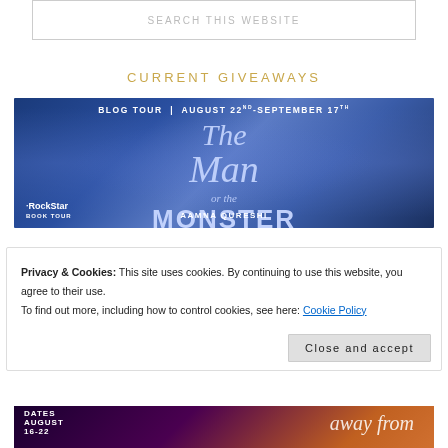[Figure (screenshot): Search box with placeholder text SEARCH THIS WEBSITE]
CURRENT GIVEAWAYS
[Figure (illustration): Blog tour banner for 'The Man or the Monster' by Aamna Qureshi, RockStar Book Tour, August 22nd - September 17th, blue textured background]
Privacy & Cookies: This site uses cookies. By continuing to use this website, you agree to their use.
To find out more, including how to control cookies, see here: Cookie Policy
[Figure (illustration): Bottom portion of another book tour banner, partially visible, dark purple and orange tones, text 'DATES AUGUST 16-22' and 'away from']